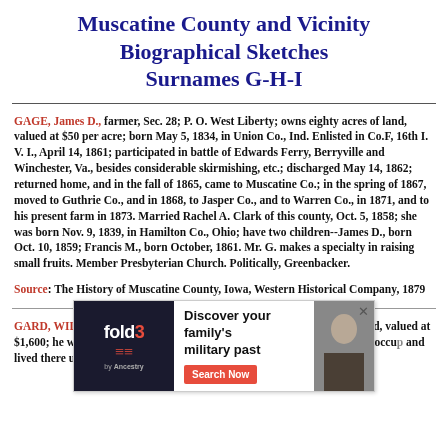Muscatine County and Vicinity Biographical Sketches Surnames G-H-I
GAGE, James D., farmer, Sec. 28; P. O. West Liberty; owns eighty acres of land, valued at $50 per acre; born May 5, 1834, in Union Co., Ind. Enlisted in Co.F, 16th I. V. I., April 14, 1861; participated in battle of Edwards Ferry, Berryville and Winchester, Va., besides considerable skirmishing, etc.; discharged May 14, 1862; returned home, and in the fall of 1865, came to Muscatine Co.; in the spring of 1867, moved to Guthrie Co., and in 1868, to Jasper Co., and to Warren Co., in 1871, and to his present farm in 1873. Married Rachel A. Clark of this county, Oct. 5, 1858; she was born Nov. 9, 1839, in Hamilton Co., Ohio; have two children--James D., born Oct. 10, 1859; Francis M., born October, 1861. Mr. G. makes a specialty in raising small fruits. Member Presbyterian Church. Politically, Greenbacker.
Source: The History of Muscatine County, Iowa, Western Historical Company, 1879
GARD, WILLIAM, far., Sec 27; P. O. Cedar Rapids; owns 40 acres of land, valued at $1,600; he was born in Preble Co., Ohio, Nov. 17, 1813; he engaged in the occupation of farming and lived there until... he engaged in ...